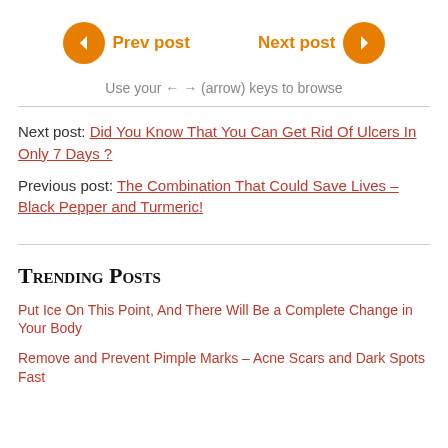[Figure (other): Navigation buttons: left arrow circle 'Prev post' and 'Next post' right arrow circle, orange colored]
Use your ← → (arrow) keys to browse
Next post: Did You Know That You Can Get Rid Of Ulcers In Only 7 Days ?
Previous post: The Combination That Could Save Lives – Black Pepper and Turmeric!
Trending Posts
Put Ice On This Point, And There Will Be a Complete Change in Your Body
Remove and Prevent Pimple Marks – Acne Scars and Dark Spots Fast